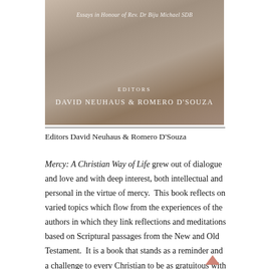[Figure (illustration): Book cover image showing a muted earthy background with overlay text. Subtitle reads 'Essays in Honour of Rev. Dr Biju Michael SDB'. Below: 'EDITORS' and 'DAVID NEUHAUS & ROMERO D'SOUZA']
Editors David Neuhaus & Romero D'Souza
Mercy: A Christian Way of Life grew out of dialogue and love and with deep interest, both intellectual and personal in the virtue of mercy.  This book reflects on varied topics which flow from the experiences of the authors in which they link reflections and meditations based on Scriptural passages from the New and Old Testament.  It is a book that stands as a reminder and a challenge to every Christian to be as gratuitous with our